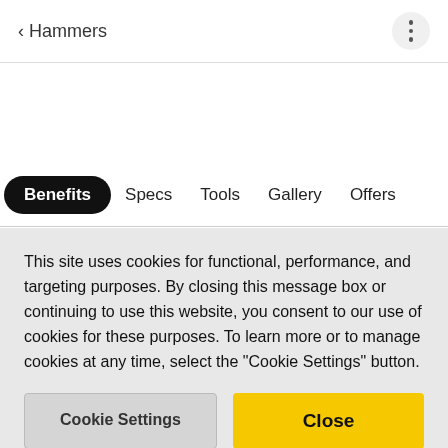< Hammers
Benefits  Specs  Tools  Gallery  Offers
Overview
This site uses cookies for functional, performance, and targeting purposes. By closing this message box or continuing to use this website, you consent to our use of cookies for these purposes. To learn more or to manage cookies at any time, select the "Cookie Settings" button.
Cookie Settings
Close